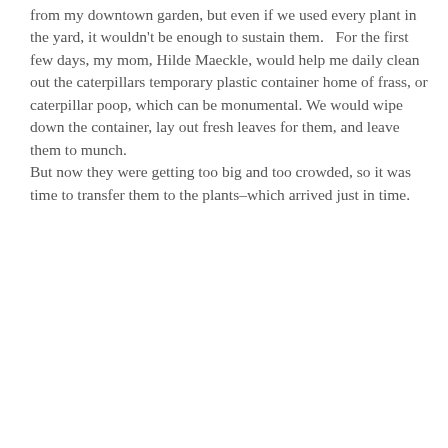from my downtown garden, but even if we used every plant in the yard, it wouldn't be enough to sustain them.   For the first few days, my mom, Hilde Maeckle, would help me daily clean out the caterpillars temporary plastic container home of frass, or caterpillar poop, which can be monumental. We would wipe down the container, lay out fresh leaves for them, and leave them to munch. But now they were getting too big and too crowded, so it was time to transfer them to the plants–which arrived just in time.